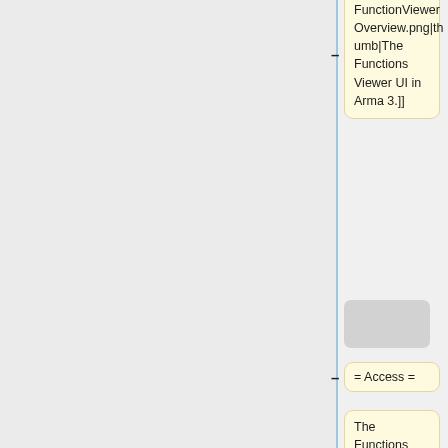FunctionViewer Overview.png|thumb|The Functions Viewer UI in Arma 3.]]
= Access =
The Functions Viewer can be opened via
* the [[Arma 3: Debug Console|Debug Console]]
* executing {{ic|[] [[spawn]] [[BIS_fnc_help]]}}